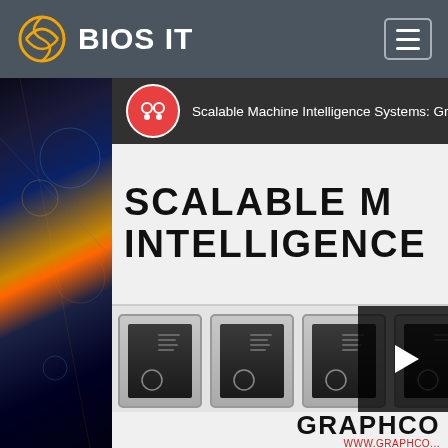[Figure (screenshot): BIOS IT website screenshot showing navigation bar with BIOS IT logo, hamburger menu, a YouTube video embed titled 'Scalable Machine Intelligence Systems: Gra...', a row of GPU/chip hardware cards with a play button overlay, and partial text 'SCALABLE M... INTELLIGENCE' and 'GRAPHCO...' with URL 'WWW.GRAPHCO...']
BIOS IT
Scalable Machine Intelligence Systems: Gra
SCALABLE M INTELLIGENCE
GRAPHCO
WWW.GRAPHCO...